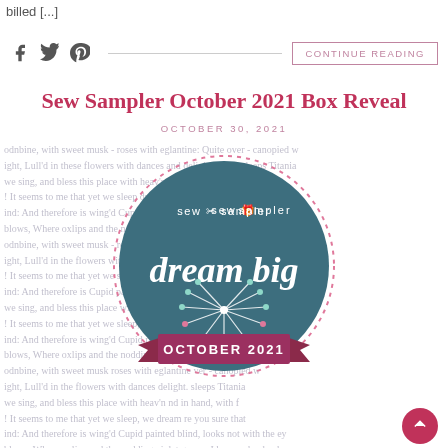billed [...]
f  twitter  pinterest  ——————————————  CONTINUE READING
Sew Sampler October 2021 Box Reveal
OCTOBER 30, 2021
[Figure (illustration): Repeated watermark text background with Shakespeare-like poetry text in light grayish-purple, overlaid with a circular Sew Sampler 'dream big' logo badge for October 2021]